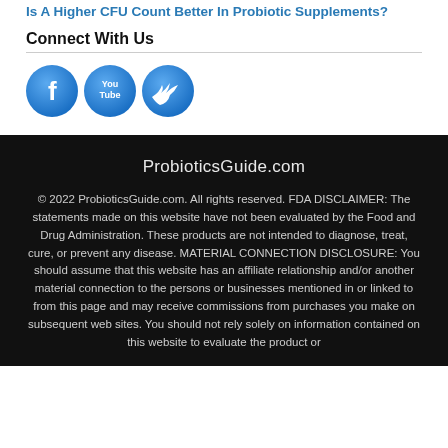Is A Higher CFU Count Better In Probiotic Supplements?
Connect With Us
[Figure (logo): Social media icons: Facebook (blue circle with white F), YouTube (blue circle with YouTube text), Twitter (blue circle with white bird)]
ProbioticsGuide.com
© 2022 ProbioticsGuide.com. All rights reserved. FDA DISCLAIMER: The statements made on this website have not been evaluated by the Food and Drug Administration. These products are not intended to diagnose, treat, cure, or prevent any disease. MATERIAL CONNECTION DISCLOSURE: You should assume that this website has an affiliate relationship and/or another material connection to the persons or businesses mentioned in or linked to from this page and may receive commissions from purchases you make on subsequent web sites. You should not rely solely on information contained on this website to evaluate the product or